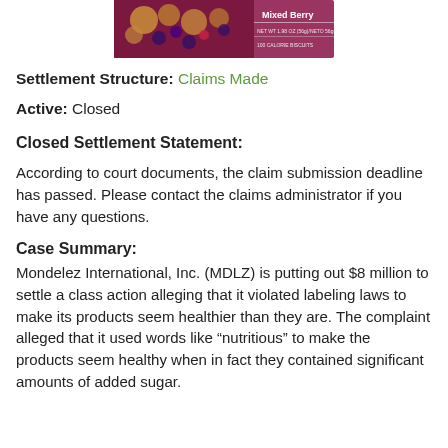[Figure (photo): Product image of a Mixed Berry snack bar packaging]
Settlement Structure: Claims Made
Active: Closed
Closed Settlement Statement:
According to court documents, the claim submission deadline has passed. Please contact the claims administrator if you have any questions.
Case Summary:
Mondelez International, Inc. (MDLZ) is putting out $8 million to settle a class action alleging that it violated labeling laws to make its products seem healthier than they are. The complaint alleged that it used words like “nutritious” to make the products seem healthy when in fact they contained significant amounts of added sugar.